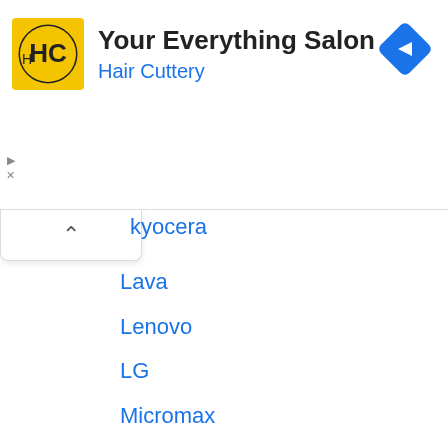[Figure (logo): Hair Cuttery advertisement banner with HC logo, title 'Your Everything Salon', subtitle 'Hair Cuttery', and a navigation arrow icon]
Kyocera
Lava
Lenovo
LG
Micromax
Motorola
Nokia
OnePlus
Oppo
Realme
Samsung